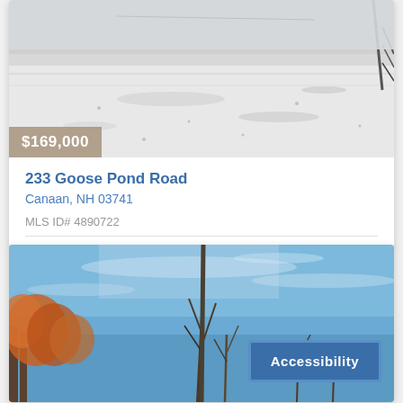[Figure (photo): Winter outdoor photo showing a snowy or icy surface, possibly a frozen pond or field, with some trees visible at edges. Gray overcast conditions.]
$169,000
233 Goose Pond Road
Canaan, NH 03741
MLS ID# 4890722
[Figure (photo): Outdoor photo showing bare trees with autumn-colored leaves (orange/red) against a bright blue sky with thin clouds. A tall structure or tree is partially visible in the center.]
Accessibility